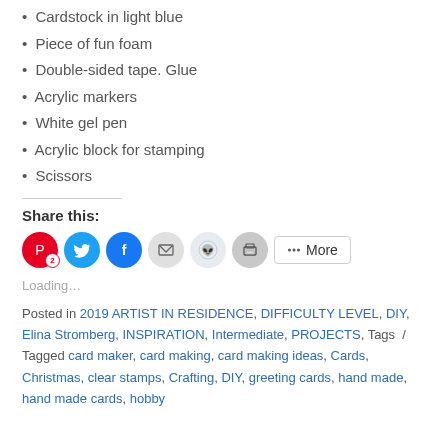• Cardstock in light blue
• Piece of fun foam
• Double-sided tape. Glue
• Acrylic markers
• White gel pen
• Acrylic block for stamping
• Scissors
Share this:
[Figure (infographic): Share buttons row: Pinterest (with badge 2), Twitter, Facebook, Email, Reddit, Print, and a More button]
Loading…
Posted in 2019 ARTIST IN RESIDENCE, DIFFICULTY LEVEL, DIY, Elina Stromberg, INSPIRATION, Intermediate, PROJECTS, Tags / Tagged card maker, card making, card making ideas, Cards, Christmas, clear stamps, Crafting, DIY, greeting cards, hand made, hand made cards, hobby